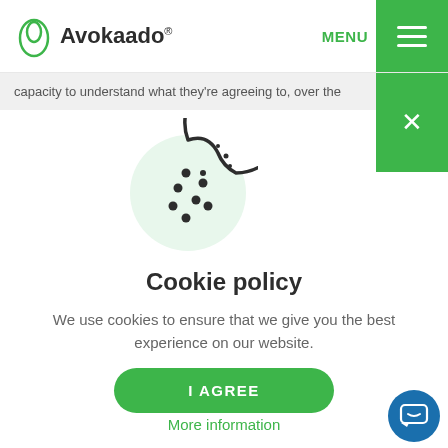Avokaado® MENU
capacity to understand what they're agreeing to, over the
[Figure (illustration): Cookie icon: a round cookie with a bite taken out of the upper right, decorated with chocolate chip dots, on a light green circular background]
Cookie policy
We use cookies to ensure that we give you the best experience on our website.
I AGREE
More information